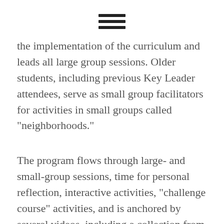[Figure (other): Hamburger menu icon with three horizontal bars]
the implementation of the curriculum and leads all large group sessions. Older students, including previous Key Leader attendees, serve as small group facilitators for activities in small groups called "neighborhoods."
The program flows through large- and small-group sessions, time for personal reflection, interactive activities, "challenge course" activities, and is anchored by several videos, including a collection from "The Collector of Bedford Street," which follows the